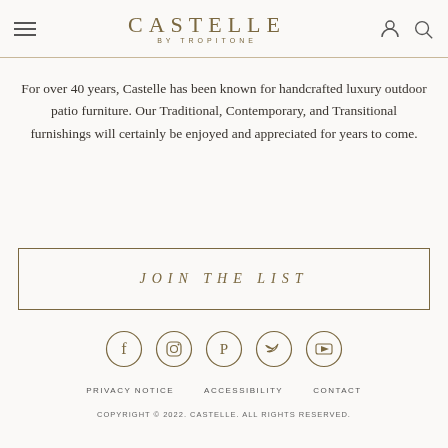CASTELLE BY TROPITONE
For over 40 years, Castelle has been known for handcrafted luxury outdoor patio furniture. Our Traditional, Contemporary, and Transitional furnishings will certainly be enjoyed and appreciated for years to come.
JOIN THE LIST
[Figure (infographic): Row of five circular social media icons: Facebook, Instagram, Pinterest, Twitter, YouTube]
PRIVACY NOTICE   ACCESSIBILITY   CONTACT
COPYRIGHT © 2022. CASTELLE. ALL RIGHTS RESERVED.